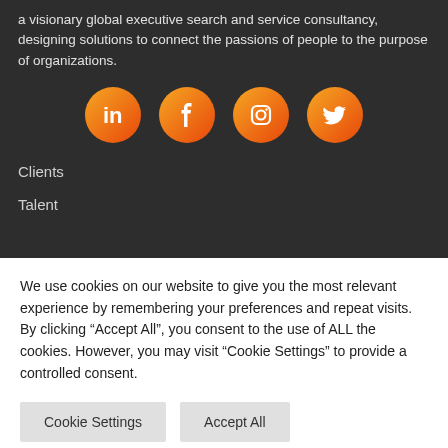a visionary global executive search and service consultancy, designing solutions to connect the passions of people to the purpose of organizations.
[Figure (infographic): Four orange circular social media icons: LinkedIn, Facebook, Instagram, Twitter]
Clients
Talent
We use cookies on our website to give you the most relevant experience by remembering your preferences and repeat visits. By clicking “Accept All”, you consent to the use of ALL the cookies. However, you may visit "Cookie Settings" to provide a controlled consent.
Cookie Settings   Accept All